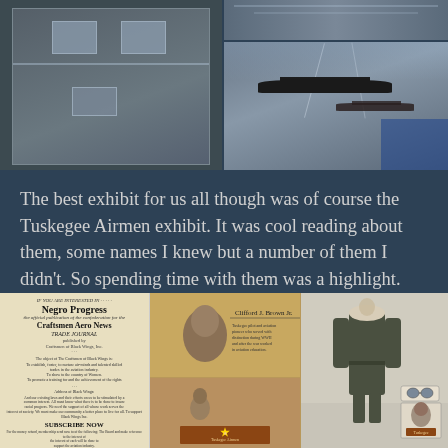[Figure (photo): Museum display case with photographs on left; two photos of aircraft in a museum on the right (top: ceiling with planes, bottom: interior with suspended aircraft)]
The best exhibit for us all though was of course the Tuskegee Airmen exhibit.  It was cool reading about them, some names I knew but a number of them I didn't.  So spending time with them was a highlight.
[Figure (photo): Three photos: left shows a newspaper/flyer for 'Negro Progress / Craftsmen Aero News Trade Journal'; middle top shows a portrait and biography; middle bottom shows a child photo with a star plaque; right shows a flight suit on display with a photo below it.]